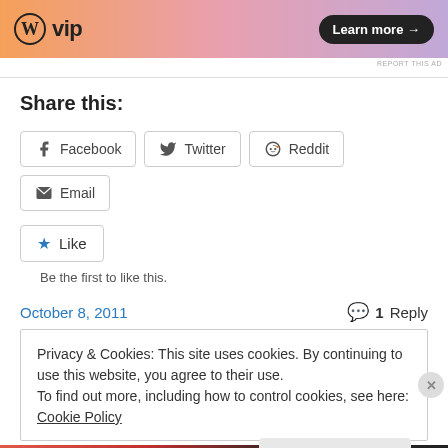[Figure (illustration): WordPress VIP advertisement banner with orange-pink gradient background, WP logo, 'vip' text, and 'Learn more →' button]
REPORT THIS AD
Share this:
Facebook
Twitter
Reddit
Email
Like
Be the first to like this.
October 8, 2011
1 Reply
Privacy & Cookies: This site uses cookies. By continuing to use this website, you agree to their use.
To find out more, including how to control cookies, see here: Cookie Policy
Close and accept